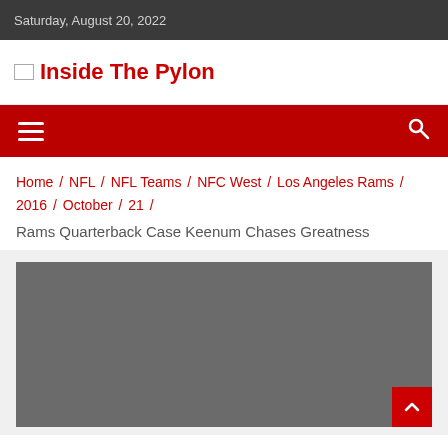Saturday, August 20, 2022
[Figure (logo): Inside The Pylon website logo with broken image icon and red text]
[Figure (other): Red navigation bar with hamburger menu icon on left and search icon on right]
Home / NFL / NFL Teams / NFC West / Los Angeles Rams / 2016 / October / 21 /
Rams Quarterback Case Keenum Chases Greatness
[Figure (photo): Dark gray placeholder image area (article image not loaded)]